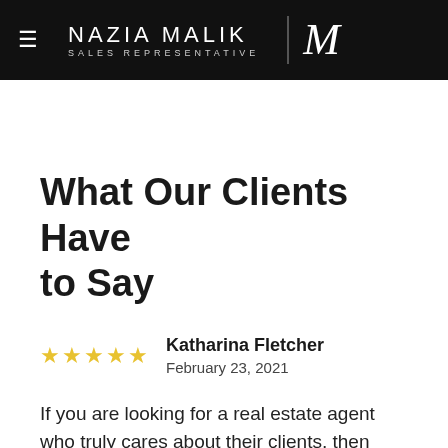NAZIA MALIK | SALES REPRESENTATIVE
What Our Clients Have to Say
★★★★★  Katharina Fletcher
February 23, 2021
If you are looking for a real estate agent who truly cares about their clients, then Nazia Malik should be